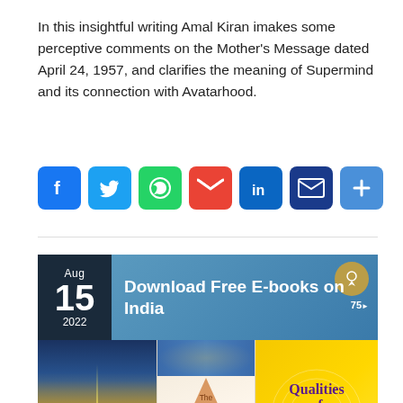In this insightful writing Amal Kiran imakes some perceptive comments on the Mother's Message dated April 24, 1957, and clarifies the meaning of Supermind and its connection with Avatarhood.
[Figure (infographic): Social sharing icons row: Facebook (blue), Twitter (light blue), WhatsApp (green), Gmail (red), LinkedIn (blue), Email (dark blue), Share (blue)]
[Figure (infographic): Card with date Aug 15 2022, header 'Download Free E-books on India', and three book cover images: India and Her Mission, The Task of Building India, Qualities of the Indian Mind]